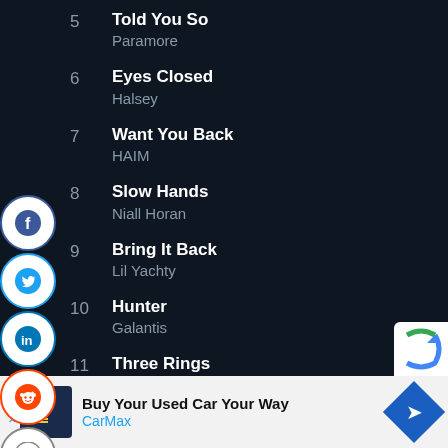5 Told You So – Paramore
6 Eyes Closed – Halsey
7 Want You Back – HAIM
8 Slow Hands – Niall Horan
9 Bring It Back – Lil Yachty
10 Hunter – Galantis
11 Three Rings – Grizzly Bear
12 Reassuring Pinches – Alison Moyet
[Figure (other): Social sharing sidebar with Facebook, Twitter, LinkedIn, Reddit, and Email buttons]
[Figure (other): Advertisement banner: Buy Your Used Car Your Way – CarMax with logo and directional arrow icon]